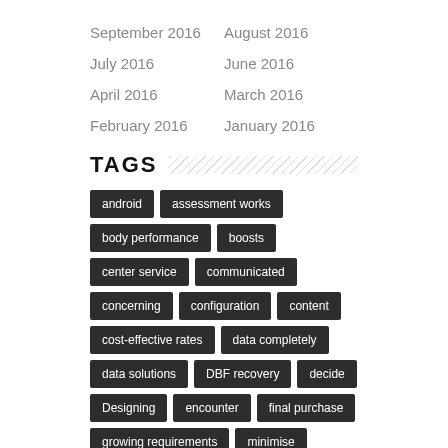September 2016
August 2016
July 2016
June 2016
April 2016
March 2016
February 2016
January 2016
TAGS
android
assessment works
body performance
boosts
center service
communicated
concerning
configuration
content
cost-effective rates
data completely
data solutions
DBF recovery
decide
Designing
encounter
final purchase
growing requirements
minimise
Nonetheless
performance
picture
PUE